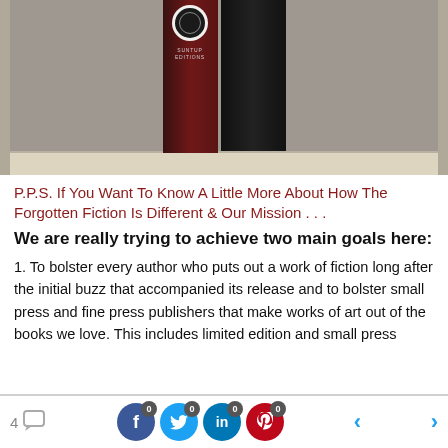[Figure (photo): Photo of books on a shelf, including a dark red/maroon book with a Suntup Editions logo badge and a black book beside it.]
P.P.S. If You Want To Know A Little More About How The Forgotten Fiction Is Different & Our Mission . . .
We are really trying to achieve two main goals here:
1. To bolster every author who puts out a work of fiction long after the initial buzz that accompanied its release and to bolster small press and fine press publishers that make works of art out of the books we love. This includes limited edition and small press
4 [comments] | Facebook 0 | Twitter 0 | LinkedIn 0 | Pinterest 0 | < >